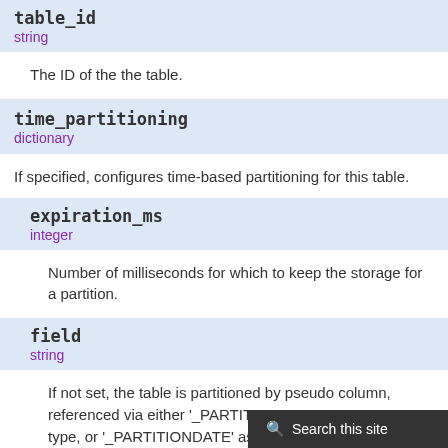table_id
string
The ID of the the table.
time_partitioning
dictionary
If specified, configures time-based partitioning for this table.
expiration_ms
integer
Number of milliseconds for which to keep the storage for a partition.
field
string
If not set, the table is partitioned by pseudo column, referenced via either '_PARTITIONTIME' as TIMESTAMP type, or '_PARTITIONDATE' as DATE type. If field is specified, the table is instead pa… this field. The field must be a t…